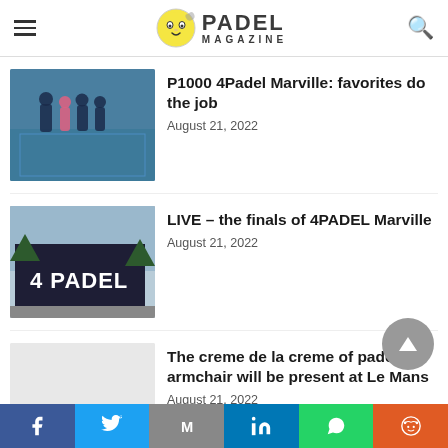Padel Magazine
P1000 4Padel Marville: favorites do the job
August 21, 2022
LIVE – the finals of 4PADEL Marville
August 21, 2022
The creme de la creme of padel armchair will be present at Le Mans
August 21, 2022
Focus on the Dunlop Aero-Star range